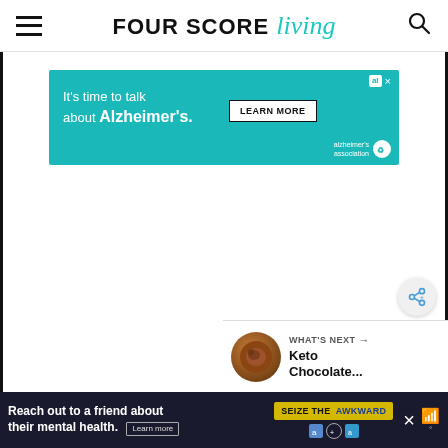FOUR SCORE living
[Figure (screenshot): Alzheimer's Association advertisement banner: teal background with text 'It's time to talk about Alzheimer's.' and a LEARN MORE button, plus Alzheimer's association logo]
[Figure (screenshot): Share button (circular, light gray) with a share/add icon in blue]
[Figure (screenshot): What's Next panel showing a circular thumbnail of a chocolate item and text 'Keto Chocolate...']
[Figure (screenshot): Bottom advertisement: dark navy background with text 'Reach out to a friend about their mental health.' and 'SEIZE THE AWKWARD' yellow button with Learn more link and ad badges]